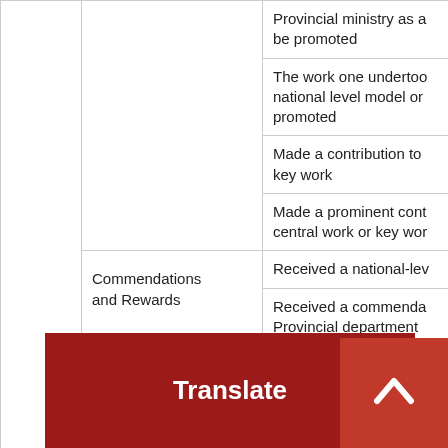|  |  | Description |
| --- | --- | --- |
|  |  | Provincial ministry as a ... be promoted |
|  |  | The work one undertoo... national level model or ... promoted |
|  |  | Made a contribution to ... key work |
|  |  | Made a prominent cont... central work or key wor... |
|  | Commendations and Rewards | Received a national-lev... |
|  |  | Received a commenda... Provincial department |
|  |  | Received a prefecture-... award |
|  |  | Received a prov... commendation or awar... |